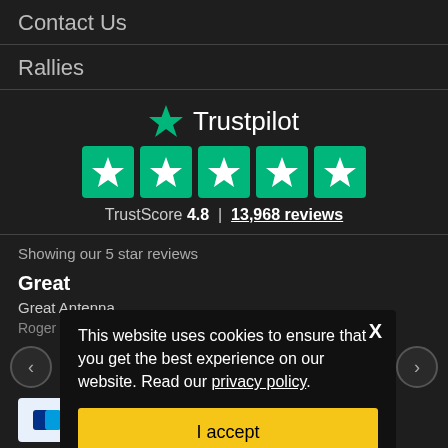Contact Us
Rallies
[Figure (logo): Trustpilot logo with green star, five green star rating boxes, TrustScore 4.8 and 13,968 reviews]
Showing our 5 star reviews
Great
Great Antenna
Roger Hunter, 2 days ago
[Figure (screenshot): Cookie consent popup: 'This website uses cookies to ensure that you get the best experience on our website. Read our privacy policy.' with I accept button]
[Figure (other): Payment method icons at bottom (PayPal, Mastercard, etc.)]